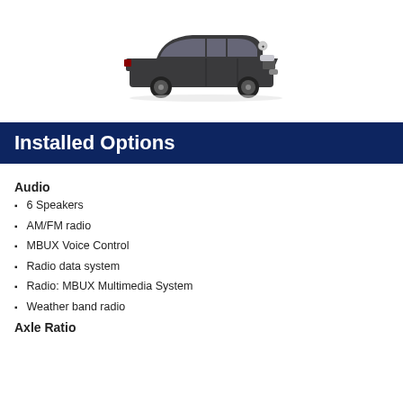[Figure (photo): Dark gray Mercedes-Benz GLC SUV viewed from front-left angle]
Installed Options
Audio
6 Speakers
AM/FM radio
MBUX Voice Control
Radio data system
Radio: MBUX Multimedia System
Weather band radio
Axle Ratio